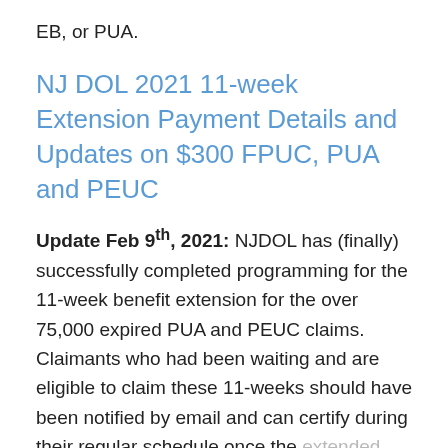EB, or PUA.
NJ DOL 2021 11-week Extension Payment Details and Updates on $300 FPUC, PUA and PEUC
Update Feb 9th, 2021: NJDOL has (finally) successfully completed programming for the 11-week benefit extension for the over 75,000 expired PUA and PEUC claims. Claimants who had been waiting and are eligible to claim these 11-weeks should have been notified by email and can certify during their regular schedule once the extended weeks are added to their claim balance. If you have not received your notification AND